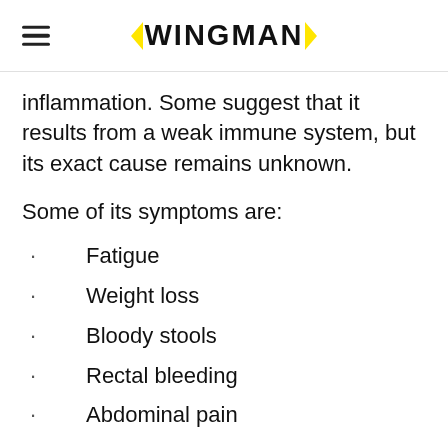WINGMAN
inflammation. Some suggest that it results from a weak immune system, but its exact cause remains unknown.
Some of its symptoms are:
Fatigue
Weight loss
Bloody stools
Rectal bleeding
Abdominal pain